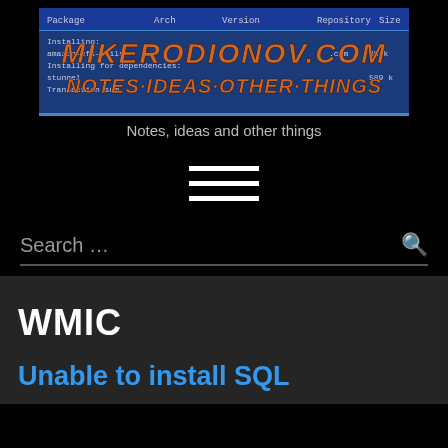[Figure (logo): Site logo for mikerodionov.com showing a terminal/package manager screenshot as background with orange italic text 'MIKERODIONOV.COM' and 'NOTES·IDEAS·OTHER·THINGS' overlaid on a blue terminal window]
Notes, ideas and other things
[Figure (other): Hamburger menu icon with three horizontal white lines]
Search ...
WMIC
Unable to install SQL